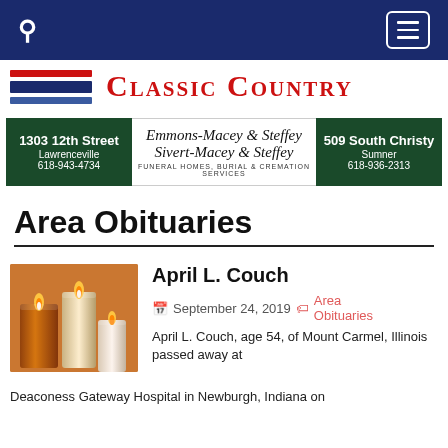Classic Country
[Figure (infographic): Emmons-Macey & Steffey / Sivert-Macey & Steffey Funeral Homes, Burial & Cremation Services advertisement banner. Left panel: 1303 12th Street, Lawrenceville, 618-943-4734. Center: cursive business names. Right panel: 509 South Christy, Sumner, 618-936-2313.]
Area Obituaries
[Figure (photo): Photo of candles — orange, tan, and white candles against an orange/warm background.]
April L. Couch
September 24, 2019   Area Obituaries
April L. Couch, age 54, of Mount Carmel, Illinois passed away at Deaconess Gateway Hospital in Newburgh, Indiana on